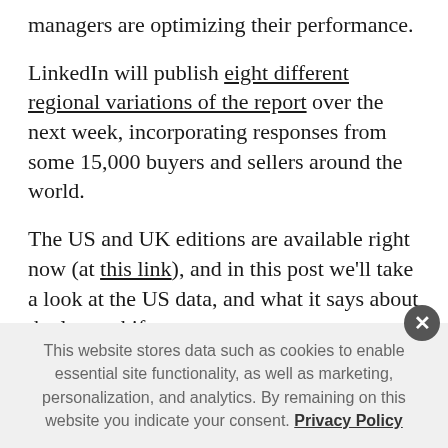managers are optimizing their performance.
LinkedIn will publish eight different regional variations of the report over the next week, incorporating responses from some 15,000 buyers and sellers around the world.
The US and UK editions are available right now (at this link), and in this post we'll take a look at the US data, and what it says about the latest shifts.
First off, the report looks at how sales managers are using tech platforms, like CRM tools and sales intelligence
This website stores data such as cookies to enable essential site functionality, as well as marketing, personalization, and analytics. By remaining on this website you indicate your consent. Privacy Policy